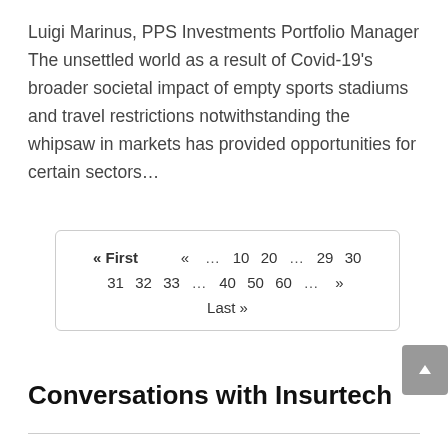Luigi Marinus, PPS Investments Portfolio Manager The unsettled world as a result of Covid-19's broader societal impact of empty sports stadiums and travel restrictions notwithstanding the whipsaw in markets has provided opportunities for certain sectors…
« First  «  …  10  20  …  29  30  31  32  33  …  40  50  60  …  »  Last »
Conversations with Insurtech